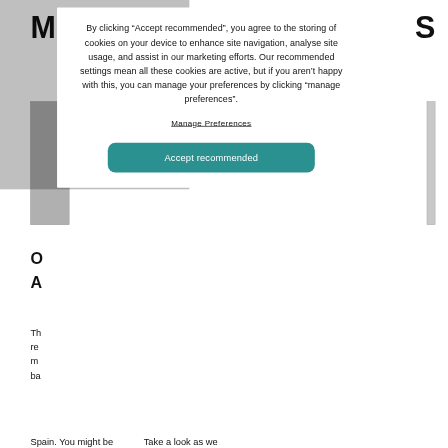By clicking “Accept recommended”, you agree to the storing of cookies on your device to enhance site navigation, analyse site usage, and assist in our marketing efforts. Our recommended settings mean all these cookies are active, but if you aren’t happy with this, you can manage your preferences by clicking "manage preferences".
Manage Preferences
Accept recommended